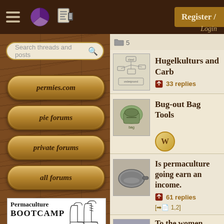permies.com forum navigation header with hamburger menu, pie icon, list icon
Register /
Login
Search threads and posts
permies.com
pie forums
private forums
all forums
[Figure (screenshot): Permaculture BOOTCAMP advertisement with boot illustrations]
5
Hugelkulturs and Carb
33 replies
Bug-out Bag Tools
Is permaculture going earn an income.
61 replies  [➡︎1,2]
To the women (and...